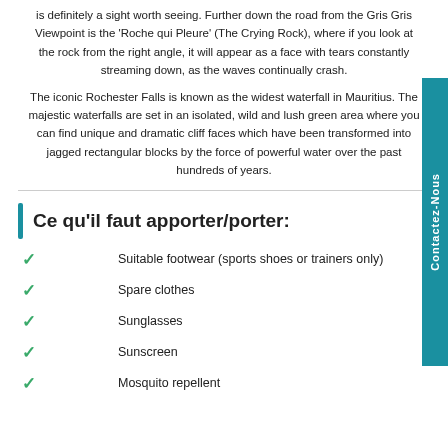is definitely a sight worth seeing. Further down the road from the Gris Gris Viewpoint is the 'Roche qui Pleure' (The Crying Rock), where if you look at the rock from the right angle, it will appear as a face with tears constantly streaming down, as the waves continually crash.
The iconic Rochester Falls is known as the widest waterfall in Mauritius. The majestic waterfalls are set in an isolated, wild and lush green area where you can find unique and dramatic cliff faces which have been transformed into jagged rectangular blocks by the force of powerful water over the past hundreds of years.
Ce qu'il faut apporter/porter:
Suitable footwear (sports shoes or trainers only)
Spare clothes
Sunglasses
Sunscreen
Mosquito repellent